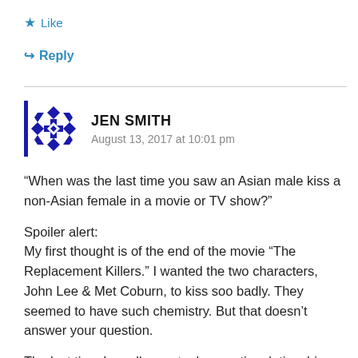★ Like
↪ Reply
JEN SMITH
August 13, 2017 at 10:01 pm
“When was the last time you saw an Asian male kiss a non-Asian female in a movie or TV show?”
Spoiler alert:
My first thought is of the end of the movie “The Replacement Killers.” I wanted the two characters, John Lee & Met Coburn, to kiss soo badly. They seemed to have such chemistry. But that doesn’t answer your question.
The last time I recall an actual romantic relationship